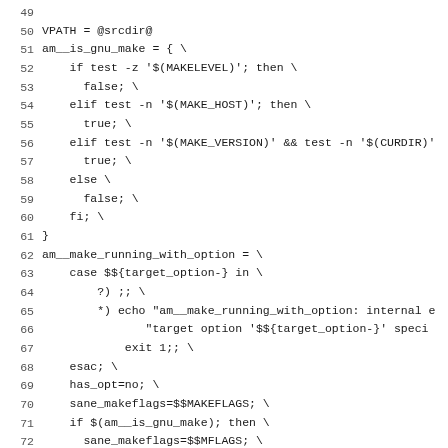Code listing lines 49-80: Makefile/shell script content including VPATH, am__is_gnu_make, and am__make_running_with_option variable definitions